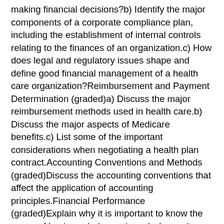making financial decisions?b) Identify the major components of a corporate compliance plan, including the establishment of internal controls relating to the finances of an organization.c) How does legal and regulatory issues shape and define good financial management of a health care organization?Reimbursement and Payment Determination (graded)a) Discuss the major reimbursement methods used in health care.b) Discuss the major aspects of Medicare benefits.c) List some of the important considerations when negotiating a health plan contract.Accounting Conventions and Methods (graded)Discuss the accounting conventions that affect the application of accounting principles.Financial Performance (graded)Explain why it is important to know the scope of business being reviewed when using financial statements.